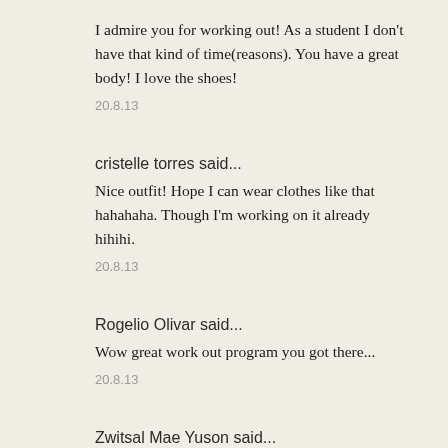I admire you for working out! As a student I don't have that kind of time(reasons). You have a great body! I love the shoes!
20.8.13
cristelle torres said...
Nice outfit! Hope I can wear clothes like that hahahaha. Though I'm working on it already hihihi.
20.8.13
Rogelio Olivar said...
Wow great work out program you got there...
20.8.13
Zwitsal Mae Yuson said...
wow! you look so fab! i love your body! nice